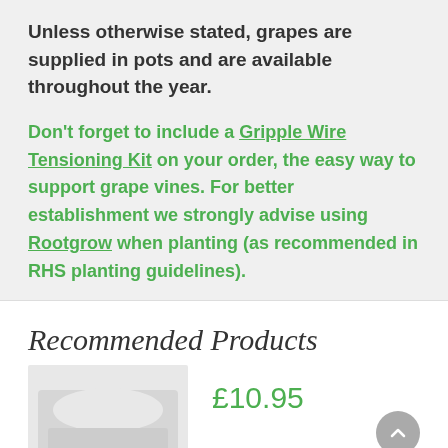Unless otherwise stated, grapes are supplied in pots and are available throughout the year.
Don't forget to include a Gripple Wire Tensioning Kit on your order, the easy way to support grape vines. For better establishment we strongly advise using Rootgrow when planting (as recommended in RHS planting guidelines).
Recommended Products
£10.95